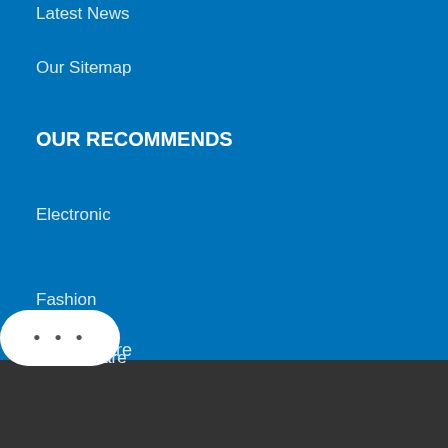Latest News
Our Sitemap
OUR RECOMMENDS
Electronic
Fashion
Health Care
Baby Items
Pet Products
Phone & Accessories
Copyright 2022 All Rights Reserved. bigbuyoffers.com